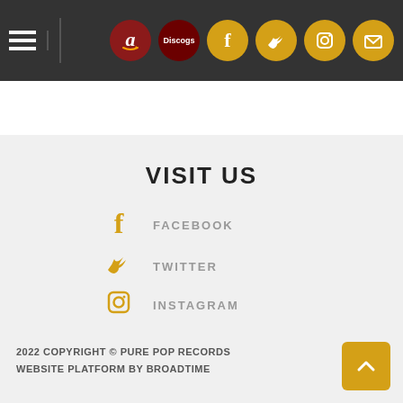Navigation header with hamburger menu and social icons: Amazon, Discogs, Facebook, Twitter, Instagram, Email
VISIT US
FACEBOOK
TWITTER
INSTAGRAM
EMAIL
2022 COPYRIGHT © PURE POP RECORDS
WEBSITE PLATFORM BY BROADTIME